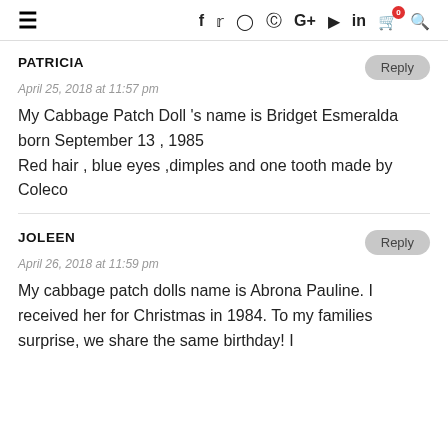≡  f  Twitter  Instagram  Pinterest  G+  YouTube  in  🛒0  🔍
PATRICIA
April 25, 2018 at 11:57 pm
My Cabbage Patch Doll 's name is Bridget Esmeralda born September 13 , 1985 Red hair , blue eyes ,dimples and one tooth made by Coleco
JOLEEN
April 26, 2018 at 11:59 pm
My cabbage patch dolls name is Abrona Pauline. I received her for Christmas in 1984. To my families surprise, we share the same birthday! I